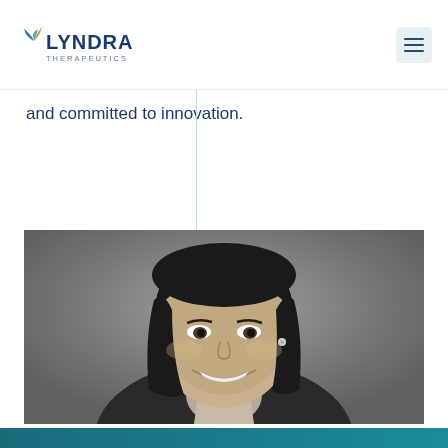Lyndra Therapeutics — navigation bar with logo and menu
and committed to innovation.
[Figure (photo): Black and white professional headshot of a smiling woman with long dark hair, wearing a light collared shirt and dark jacket]